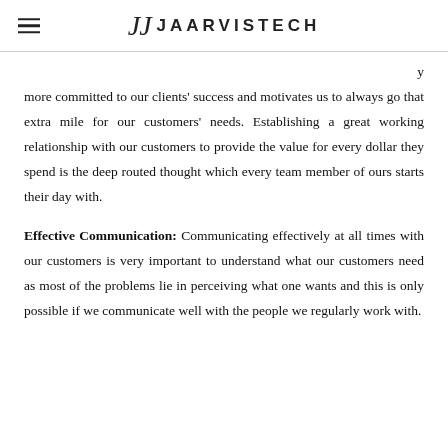JJ JAARVISTECH
more committed to our clients' success and motivates us to always go that extra mile for our customers' needs. Establishing a great working relationship with our customers to provide the value for every dollar they spend is the deep routed thought which every team member of ours starts their day with.
Effective Communication: Communicating effectively at all times with our customers is very important to understand what our customers need as most of the problems lie in perceiving what one wants and this is only possible if we communicate well with the people we regularly work with.